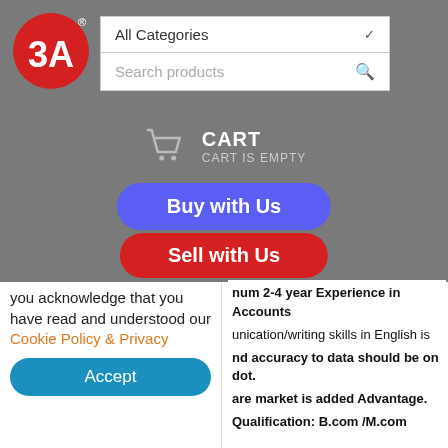[Figure (logo): 3A logo: red oval with white text '3A' and registered trademark symbol]
All Categories ✓
Search products 🔍
CART
CART IS EMPTY
Buy with Us
Sell with Us
num 2-4 year Experience in Accounts
you acknowledge that you have read and understood our Cookie Policy & Privacy
unication/writing skills in English is
nd accuracy to data should be on dot.
are market is added Advantage.
Qualification: B.com /M.com